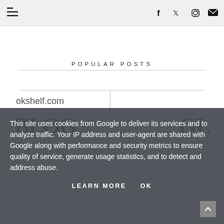Navigation bar with menu icon and social icons (Facebook, Twitter, Instagram, Email)
POPULAR POSTS
[Figure (photo): Partial view of a bookshelf website showing text 'okshelf.com' and large decorative block letters]
This site uses cookies from Google to deliver its services and to analyze traffic. Your IP address and user-agent are shared with Google along with performance and security metrics to ensure quality of service, generate usage statistics, and to detect and address abuse.
LEARN MORE   OK